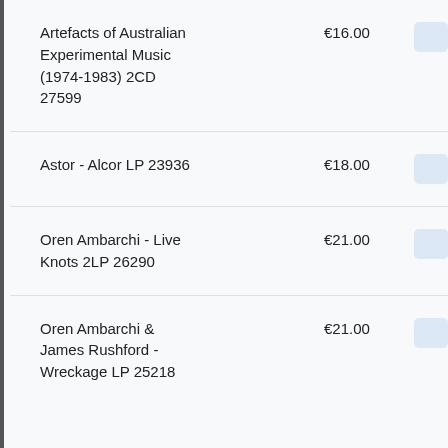Artefacts of Australian Experimental Music (1974-1983) 2CD 27599 €16.00
Astor - Alcor LP 23936 €18.00
Oren Ambarchi - Live Knots 2LP 26290 €21.00
Oren Ambarchi & James Rushford - Wreckage LP 25218 €21.00